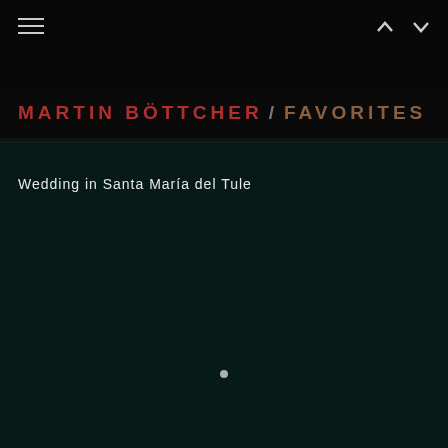MARTIN BÖTTCHER / FAVORITES
Wedding in Santa María del Tule